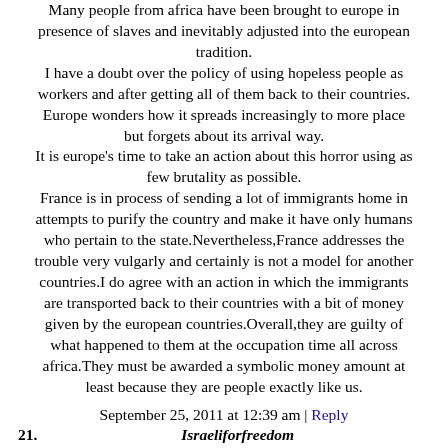Many people from africa have been brought to europe in presence of slaves and inevitably adjusted into the european tradition.
I have a doubt over the policy of using hopeless people as workers and after getting all of them back to their countries. Europe wonders how it spreads increasingly to more place but forgets about its arrival way.
It is europe's time to take an action about this horror using as few brutality as possible.
France is in process of sending a lot of immigrants home in attempts to purify the country and make it have only humans who pertain to the state.Nevertheless,France addresses the trouble very vulgarly and certainly is not a model for another countries.I do agree with an action in which the immigrants are transported back to their countries with a bit of money given by the european countries.Overall,they are guilty of what happened to them at the occupation time all across africa.They must be awarded a symbolic money amount at least because they are people exactly like us.
September 25, 2011 at 12:39 am | Reply
21.   Israeliforfreedom
I want to add a word that might change the whole intention in my post.
"Overall they aren't guilty". I truly apologize for the critical